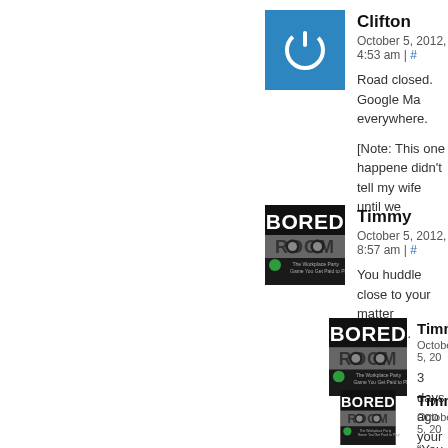[Figure (photo): Blue square avatar with white power button icon]
Clifton
October 5, 2012, 4:53 am | #
Road closed. Google Ma everywhere.
[Note: This one happene didn't tell my wife until we
[Figure (logo): Bored Room game logo - The Workplace Party Game You Get Paid to Play!]
Timmy
October 5, 2012, 8:57 am | #
You huddle close to your matter anymore.
[Figure (logo): Bored Room game logo - The Workplace Party Game You Get Paid to Play!]
Timmy
October 5, 20
3 days ago your family
[Figure (logo): Bored Room game logo - The Workplace Party Game You Get Paid to Play!]
Timmy
October 5, 20
“You or she’s s